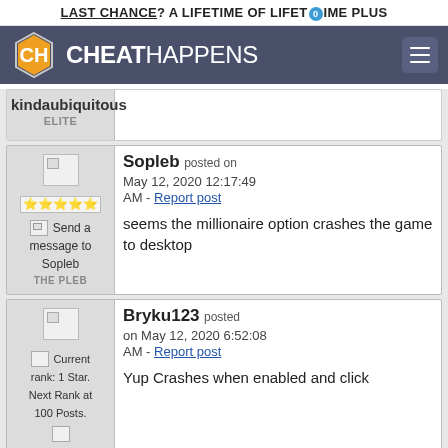LAST CHANCE? A LIFETIME OF LIFETIME PLUS
[Figure (logo): CheatHappens website logo with hexagonal CH icon and site name]
kindaubiquitous
ELITE
Sopleb posted on May 12, 2020 12:17:49 AM - Report post
seems the millionaire option crashes the game to desktop
THE PLEB
Bryku123 posted on May 12, 2020 6:52:08 AM - Report post
Yup Crashes when enabled and click
Current rank: 1 Star. Next Rank at 100 Posts.